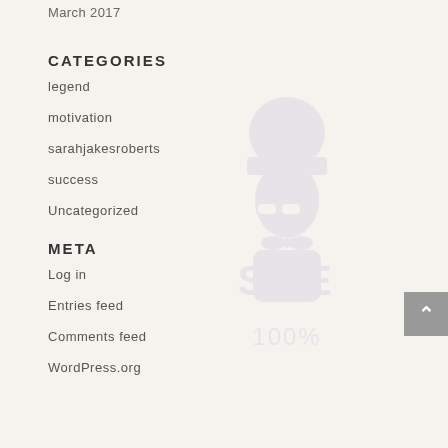March 2017
CATEGORIES
legend
motivation
sarahjakesroberts
success
Uncategorized
[Figure (logo): Watermark logo of a chef figure with text 'SHE' and '100%']
META
Log in
Entries feed
Comments feed
WordPress.org